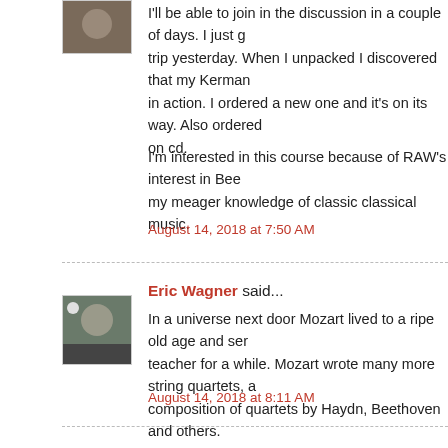I'll be able to join in the discussion in a couple of days. I just g trip yesterday. When I unpacked I discovered that my Kerman in action. I ordered a new one and it's on its way. Also ordered on cd.
I'm interested in this course because of RAW's interest in Bee my meager knowledge of classic classical music.
August 14, 2018 at 7:50 AM
Eric Wagner said...
In a universe next door Mozart lived to a ripe old age and ser teacher for a while. Mozart wrote many more string quartets, a composition of quartets by Haydn, Beethoven and others.
August 14, 2018 at 8:11 AM
Cleveland Okie (Tom Jackson) said...
I've started the Kerman, and it's obvious that I won't get every me, and also obvious that I'll learn a lot, anyway.